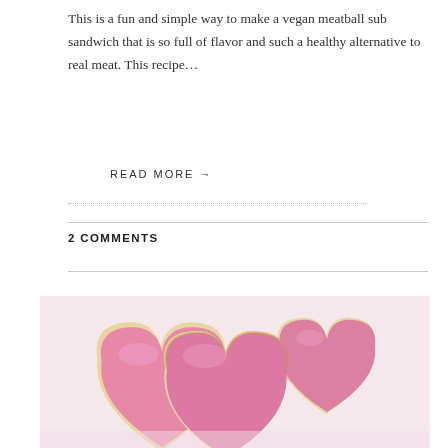This is a fun and simple way to make a vegan meatball sub sandwich that is so full of flavor and such a healthy alternative to real meat. This recipe…
READ MORE →
2 COMMENTS
[Figure (photo): Pink heart-shaped frosted cookies arranged overlapping on a white surface]